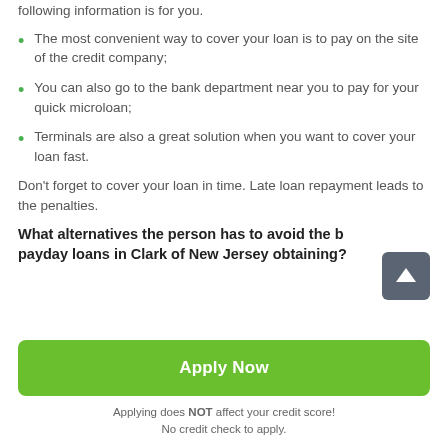following information is for you.
The most convenient way to cover your loan is to pay on the site of the credit company;
You can also go to the bank department near you to pay for your quick microloan;
Terminals are also a great solution when you want to cover your loan fast.
Don't forget to cover your loan in time. Late loan repayment leads to the penalties.
What alternatives the person has to avoid the bad payday loans in Clark of New Jersey obtaining?
Apply Now
Applying does NOT affect your credit score!
No credit check to apply.